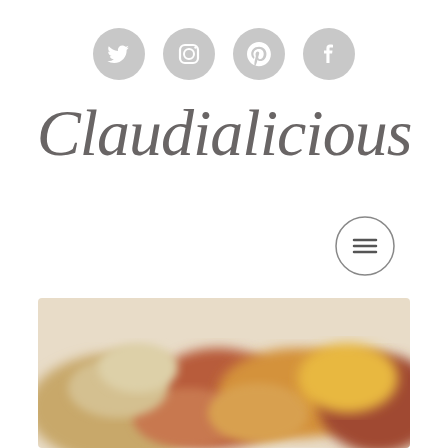[Figure (other): Social media icons: Twitter, Instagram, Pinterest, Facebook — light gray circular icons in a row]
Claudialicious
[Figure (other): Hamburger menu button — three horizontal lines inside a thin circle]
Panzanella
[Figure (photo): Blurred photo of panzanella salad with colorful vegetables and bread]